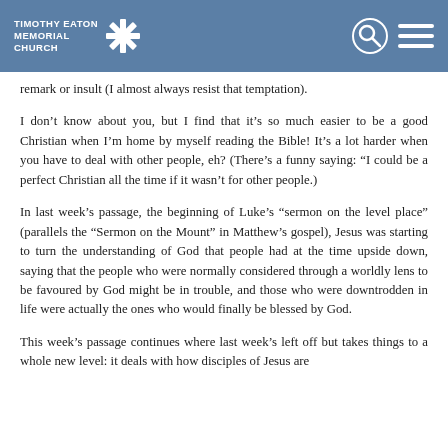Timothy Eaton Memorial Church
remark or insult (I almost always resist that temptation).
I don't know about you, but I find that it's so much easier to be a good Christian when I'm home by myself reading the Bible! It's a lot harder when you have to deal with other people, eh? (There's a funny saying: “I could be a perfect Christian all the time if it wasn't for other people.)
In last week’s passage, the beginning of Luke’s “sermon on the level place” (parallels the “Sermon on the Mount” in Matthew’s gospel), Jesus was starting to turn the understanding of God that people had at the time upside down, saying that the people who were normally considered through a worldly lens to be favoured by God might be in trouble, and those who were downtrodden in life were actually the ones who would finally be blessed by God.
This week’s passage continues where last week’s left off but takes things to a whole new level: it deals with how disciples of Jesus are